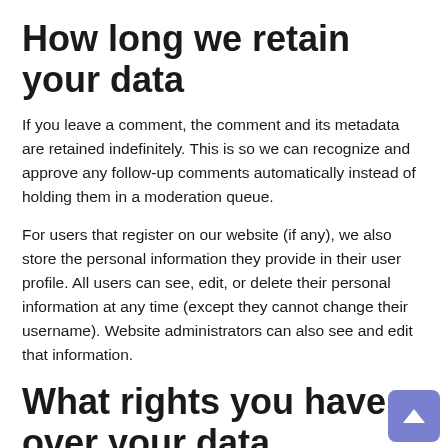How long we retain your data
If you leave a comment, the comment and its metadata are retained indefinitely. This is so we can recognize and approve any follow-up comments automatically instead of holding them in a moderation queue.
For users that register on our website (if any), we also store the personal information they provide in their user profile. All users can see, edit, or delete their personal information at any time (except they cannot change their username). Website administrators can also see and edit that information.
What rights you have over your data
If you have an account on this site, or have left comments, you can request to receive an exported file of the personal data we hold about you, including any data you have provided to us. You can also request that we erase any personal data we hold about